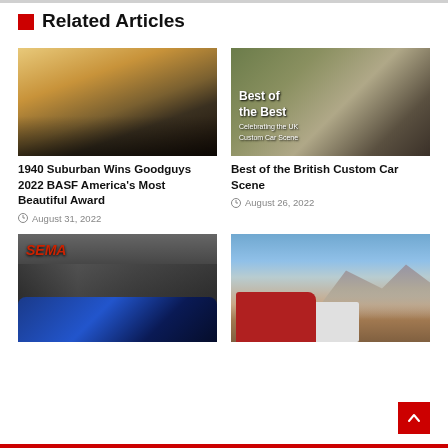Related Articles
[Figure (photo): Vintage 1940 Chevrolet Suburban automobile photographed at sunset]
1940 Suburban Wins Goodguys 2022 BASF America's Most Beautiful Award
August 31, 2022
[Figure (photo): British custom car show collage with hot rods and vintage vehicles, overlay text reading Best of the Best - Celebrating the UK Custom Car Scene]
Best of the British Custom Car Scene
August 26, 2022
[Figure (photo): SEMA show with crowds and a blue custom car on display]
[Figure (photo): Red vintage Chevrolet truck towing a white trailer with mountains in background]